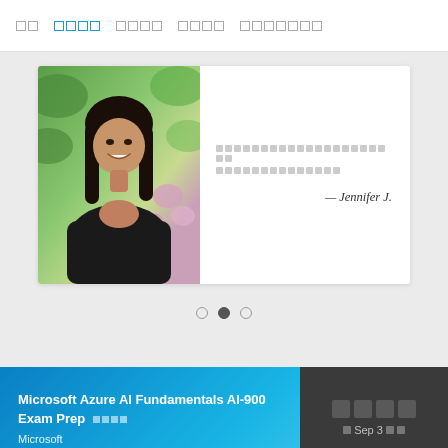□□  □□□□  □□□□  □□□□  □□□□□□□
[Figure (photo): Testimonial card with a smiling young woman with long dark hair against a floral background, beside a quote text block attributed to Jennifer J.]
— Jennifer J.
Carousel navigation dots (3 dots, second active)
Microsoft Azure AI Fundamentals AI-900 Exam Prep □□□□
Microsoft
□ Sep 3 □□